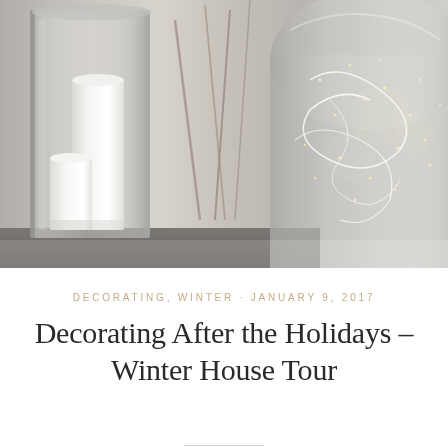[Figure (photo): Close-up photograph of glass vases with white pillar candles on the left, and a large glass cloche or dome containing fairy lights/string lights on the right, with twigs in between. Soft, muted, neutral-toned home decor scene.]
DECORATING, WINTER · JANUARY 9, 2017
Decorating After the Holidays – Winter House Tour